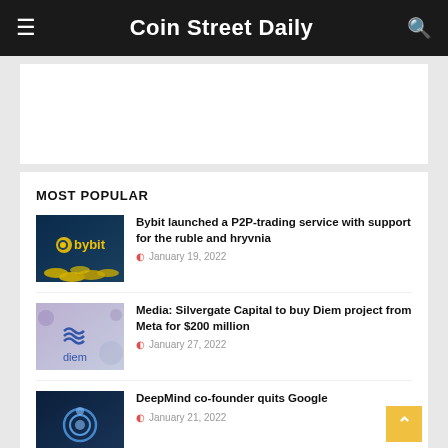Coin Street Daily
[Figure (other): Advertisement banner placeholder (white rectangle)]
MOST POPULAR
[Figure (photo): Bybit logo with gold coins on dark blue background]
Bybit launched a P2P-trading service with support for the ruble and hryvnia
January 19, 2022
[Figure (photo): Diem logo with wavy lines on purple/lavender background]
Media: Silvergate Capital to buy Diem project from Meta for $200 million
January 27, 2022
[Figure (photo): DeepMind logo on dark blue background]
DeepMind co-founder quits Google
January 21, 2022